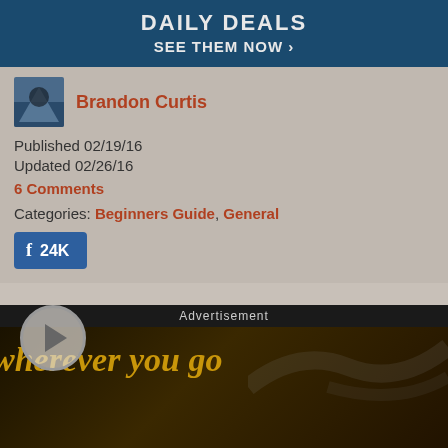DAILY DEALS
SEE THEM NOW >
Brandon Curtis
Published 02/19/16
Updated 02/26/16
6 Comments
Categories: Beginners Guide, General
[Figure (screenshot): Facebook share button showing 24K shares]
[Figure (screenshot): Video player with play button overlay and advertisement overlay showing text 'wherever you go' in gold italic text on dark background]